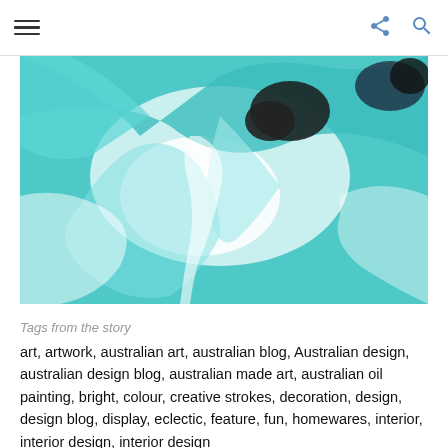Navigation header with hamburger menu, share icon, and search icon
[Figure (illustration): Abstract fluid art painting with swirling teal/turquoise, white, and black patterns resembling marbled paint or aerial water view]
Tags from the story
art, artwork, australian art, australian blog, Australian design, australian design blog, australian made art, australian oil painting, bright, colour, creative strokes, decoration, design, design blog, display, eclectic, feature, fun, homewares, interior, interior design, interior design